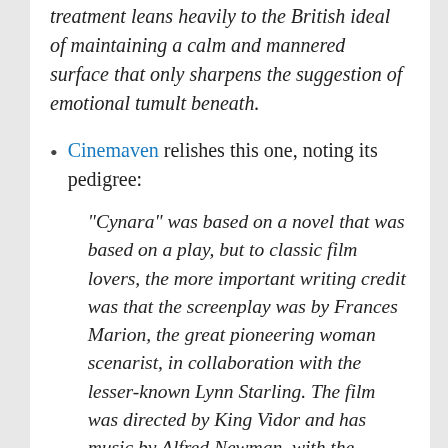treatment leans heavily to the British ideal of maintaining a calm and mannered surface that only sharpens the suggestion of emotional tumult beneath.
Cinemaven relishes this one, noting its pedigree:
"Cynara" was based on a novel that was based on a play, but to classic film lovers, the more important writing credit was that the screenplay was by Frances Marion, the great pioneering woman scenarist, in collaboration with the lesser-known Lynn Starling. The film was directed by King Vidor and has music by Alfred Newman, with the Irving Berlin song "Blue Skies" thrown in. It came out of Sam Goldwyn's